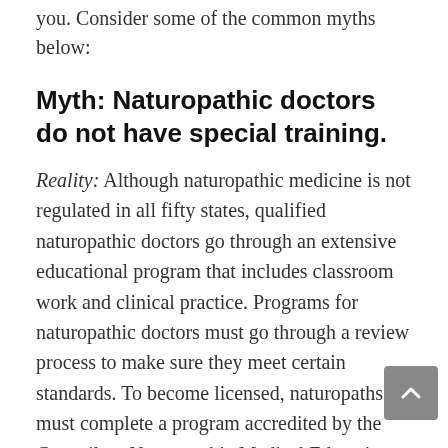you. Consider some of the common myths below:
Myth: Naturopathic doctors do not have special training.
Reality: Although naturopathic medicine is not regulated in all fifty states, qualified naturopathic doctors go through an extensive educational program that includes classroom work and clinical practice. Programs for naturopathic doctors must go through a review process to make sure they meet certain standards. To become licensed, naturopaths must complete a program accredited by the Council on Naturopathic Medical Education. Although the curriculum is different, in some ways, their requirements are like medical doctors. An undergrad degree is required before being admitted to a doctorate...